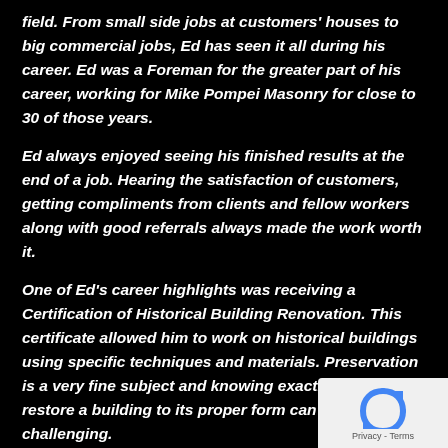field. From small side jobs at customers' houses to big commercial jobs, Ed has seen it all during his career. Ed was a Foreman for the greater part of his career, working for Mike Pompei Masonry for close to 30 of those years.
Ed always enjoyed seeing his finished results at the end of a job. Hearing the satisfaction of customers, getting compliments from clients and fellow workers along with good referrals always made the work worth it.
One of Ed's career highlights was receiving a Certification of Historical Building Renovation. This certificate allowed him to work on historical buildings using specific techniques and materials. Preservation is a very fine subject and knowing exactly how to restore a building to its proper form can be challenging.
Even though Ed is now retired, he still tries to do work on
[Figure (logo): reCAPTCHA badge with blue arrow icon and Privacy - Terms text]